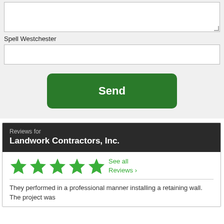[Figure (screenshot): A textarea form field with a resize handle in the bottom-right corner, on a light gray background.]
Spell Westchester
[Figure (screenshot): A single-line text input field for spelling 'Westchester', on a light gray background.]
Send
Reviews for
Landwork Contractors, Inc.
[Figure (other): Five green star icons representing a 5-star rating, alongside a 'See all Reviews >' link in green.]
They performed in a professional manner installing a retaining wall. The project was